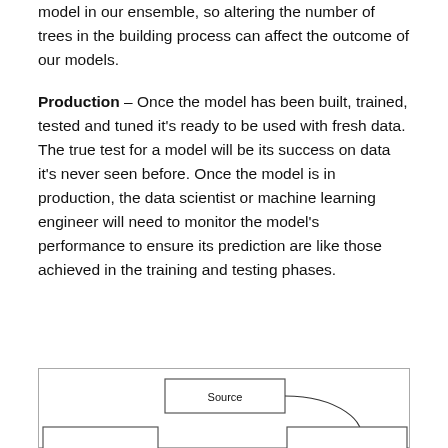model in our ensemble, so altering the number of trees in the building process can affect the outcome of our models.
Production – Once the model has been built, trained, tested and tuned it's ready to be used with fresh data. The true test for a model will be its success on data it's never seen before. Once the model is in production, the data scientist or machine learning engineer will need to monitor the model's performance to ensure its prediction are like those achieved in the training and testing phases.
[Figure (flowchart): A flowchart partially visible at the bottom of the page showing a 'Source' box at the top center with an arrow curving down-right toward another box at the bottom right, and another box partially visible at the bottom left.]